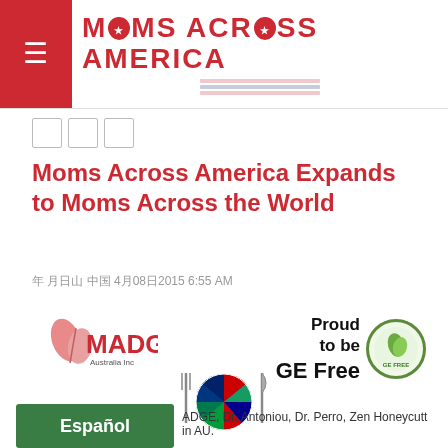MOMS ACROSS AMERICA
[Figure (logo): Social sharing icons (three small boxes)]
Moms Across America Expands to Moms Across the World
4月08日2015 6:55 AM
[Figure (logo): MADGE Australia Inc logo with pink leaf]
[Figure (logo): Proud to be GE Free badge with butterfly]
[Figure (illustration): Globe with international flags on a plate with fork and knife]
[Figure (logo): Espanol green button]
ADGE, Dr. Antoniou, Dr. Perro, Zen Honeycutt in AU.